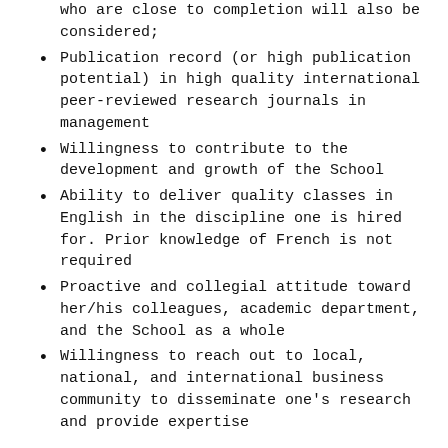who are close to completion will also be considered;
Publication record (or high publication potential) in high quality international peer-reviewed research journals in management
Willingness to contribute to the development and growth of the School
Ability to deliver quality classes in English in the discipline one is hired for. Prior knowledge of French is not required
Proactive and collegial attitude toward her/his colleagues, academic department, and the School as a whole
Willingness to reach out to local, national, and international business community to disseminate one's research and provide expertise
About Rennes School of Business
Rennes SB is a fast-growing institution providing